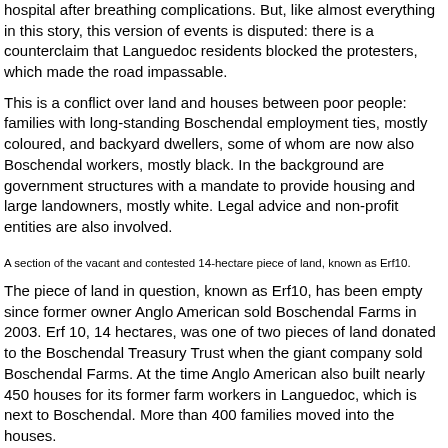hospital after breathing complications. But, like almost everything in this story, this version of events is disputed: there is a counterclaim that Languedoc residents blocked the protesters, which made the road impassable.
This is a conflict over land and houses between poor people: families with long-standing Boschendal employment ties, mostly coloured, and backyard dwellers, some of whom are now also Boschendal workers, mostly black. In the background are government structures with a mandate to provide housing and large landowners, mostly white. Legal advice and non-profit entities are also involved.
A section of the vacant and contested 14-hectare piece of land, known as Erf10.
The piece of land in question, known as Erf10, has been empty since former owner Anglo American sold Boschendal Farms in 2003. Erf 10, 14 hectares, was one of two pieces of land donated to the Boschendal Treasury Trust when the giant company sold Boschendal Farms. At the time Anglo American also built nearly 450 houses for its former farm workers in Languedoc, which is next to Boschendal. More than 400 families moved into the houses.
The piece of land in question, known as Erf10, has been empty...